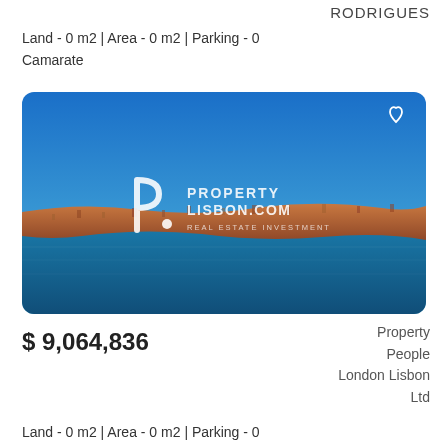RODRIGUES
Land - 0 m2 | Area - 0 m2 | Parking - 0
Camarate
[Figure (photo): Aerial/drone photo of Lisbon waterfront with Property Lisbon.com watermark logo overlay, blue sky above, city/land in the middle, and blue river/water at the bottom. Heart icon in top-right corner.]
$ 9,064,836
Property People London Lisbon Ltd
Land - 0 m2 | Area - 0 m2 | Parking - 0